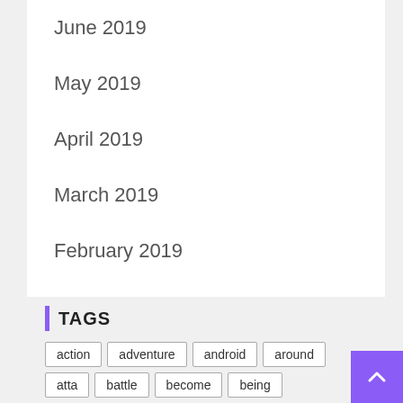June 2019
May 2019
April 2019
March 2019
February 2019
January 2019
January 2017
TAGS
action
adventure
android
around
atta
battle
become
being
blockbuster
build
building
Doraemon Story of Seasons
download